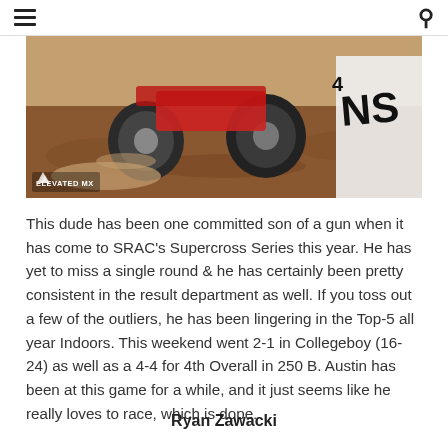≡  🔍
[Figure (photo): Motocross dirt bike racing photo with 'ELEVATED MX' watermark in bottom left corner. Shows motorcycle tires kicking up dirt on a track.]
This dude has been one committed son of a gun when it has come to SRAC's Supercross Series this year. He has yet to miss a single round & he has certainly been pretty consistent in the result department as well. If you toss out a few of the outliers, he has been lingering in the Top-5 all year Indoors. This weekend went 2-1 in Collegeboy (16-24) as well as a 4-4 for 4th Overall in 250 B. Austin has been at this game for a while, and it just seems like he really loves to race, which is dope.
Ryan Zawacki